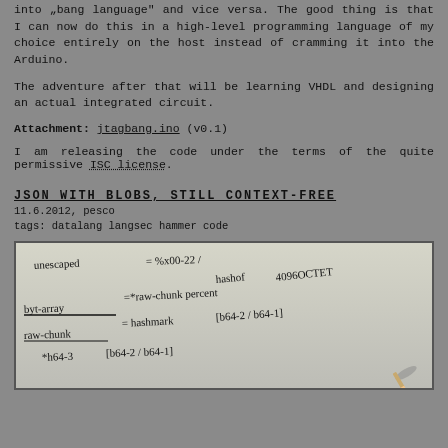into „bang language“ and vice versa. The good thing is that I can now do this in a high-level programming language of my choice entirely on the host instead of cramming it into the Arduino.
The adventure after that will be learning VHDL and designing an actual integrated circuit.
Attachment: jtagbang.ino (v0.1)
I am releasing the code under the terms of the quite permissive ISC license.
JSON WITH BLOBS, STILL CONTEXT-FREE
11.6.2012, pesco
tags: datalang langsec hammer code
[Figure (photo): Handwritten notes on paper showing grammar/parser definitions: unescaped = %x00-22 /, byte-array = #raw-chunk percent hashof 4096OCTET, raw-chunk = hashmark [b64-2 / b64-1], *h64-3 [b64-2 / b64-1]]